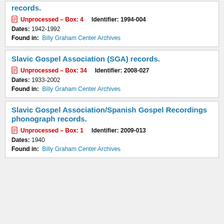records.
Unprocessed – Box: 4   Identifier: 1994-004
Dates: 1942-1992
Found in: Billy Graham Center Archives
Slavic Gospel Association (SGA) records.
Unprocessed – Box: 34   Identifier: 2008-027
Dates: 1933-2002
Found in: Billy Graham Center Archives
Slavic Gospel Association/Spanish Gospel Recordings phonograph records.
Unprocessed – Box: 1   Identifier: 2009-013
Dates: 1940
Found in: Billy Graham Center Archives